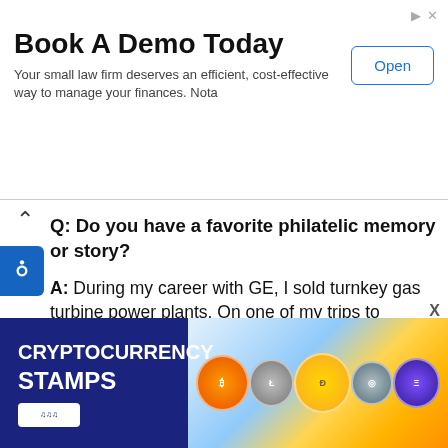[Figure (screenshot): Top advertisement banner: 'Book A Demo Today' with subtitle 'Your small law firm deserves an efficient, cost-effective way to manage your finances. Nota' and an 'Open' button]
Q: Do you have a favorite philatelic memory or story?
A: During my career with GE, I sold turnkey gas turbine power plants. On one of my trips to Indonesia, I departed from New York, then flew from California over the Pacific to Hawaii, Singapore, Jakarta landing in Semarang Indonesia. On my return flight, I flew via the Mid-East and Europe across the Atlantic back to New York. I realized that I had circumvented the earth flying commercially round-the-world. This journey led to my interests in collecting philatelic covers carried on and specifically
[Figure (screenshot): Bottom advertisement banner for 'CRYPTOCURRENCY STAMPS' with dark blue background and cryptocurrency coin images]